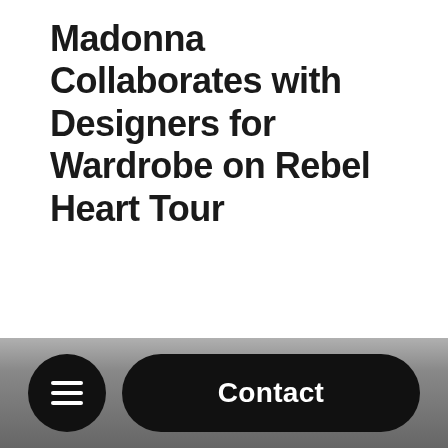Madonna Collaborates with Designers for Wardrobe on Rebel Heart Tour
Contact